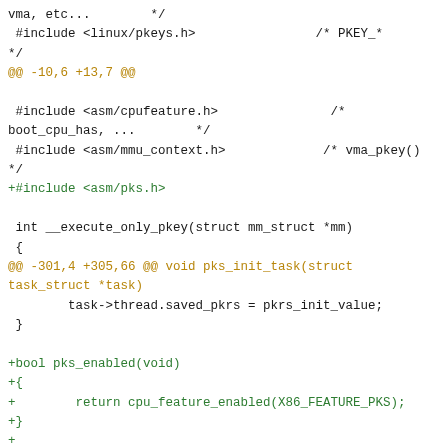Diff/patch content showing code changes to Linux kernel source files, including includes for pkeys.h, cpufeature.h, mmu_context.h, pks.h, and new functions pks_enabled() and documentation comments.